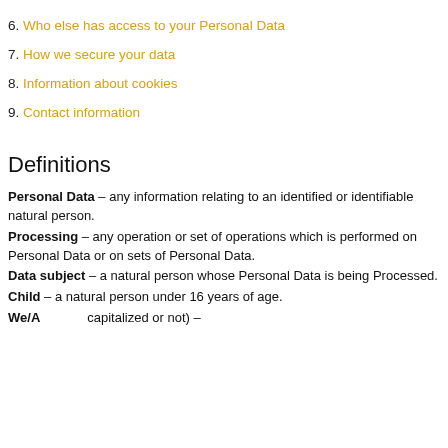6. Who else has access to your Personal Data
7. How we secure your data
8. Information about cookies
9. Contact information
Definitions
Personal Data – any information relating to an identified or identifiable natural person.
Processing – any operation or set of operations which is performed on Personal Data or on sets of Personal Data.
Data subject – a natural person whose Personal Data is being Processed.
Child – a natural person under 16 years of age.
We/A... (capitalized or not) –